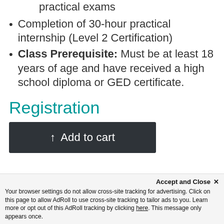practical exams
Completion of 30-hour practical internship (Level 2 Certification)
Class Prerequisite: Must be at least 18 years of age and have received a high school diploma or GED certificate.
Registration
[Figure (other): Dark button labeled 'Add to cart' with an upward arrow icon]
Accept and Close ✕
Your browser settings do not allow cross-site tracking for advertising. Click on this page to allow AdRoll to use cross-site tracking to tailor ads to you. Learn more or opt out of this AdRoll tracking by clicking here. This message only appears once.